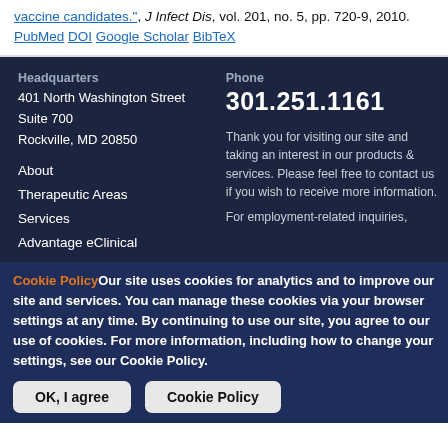vaccine candidates.", J Infect Dis, vol. 201, no. 5, pp. 720-9, 2010. PubMed DOI Google Scholar BibTeX
Headquarters
401 North Washington Street
Suite 700
Rockville, MD 20850
Phone
301.251.1161
About
Therapeutic Areas
Services
Advantage eClinical
Thank you for visiting our site and taking an interest in our products & services. Please feel free to contact us if you wish to receive more information.
For employment-related inquiries,
Cookie Policy Our site uses cookies for analytics and to improve our site and services. You can manage these cookies via your browser settings at any time. By continuing to use our site, you agree to our use of cookies. For more information, including how to change your settings, see our Cookie Policy.
OK, I agree
Cookie Policy